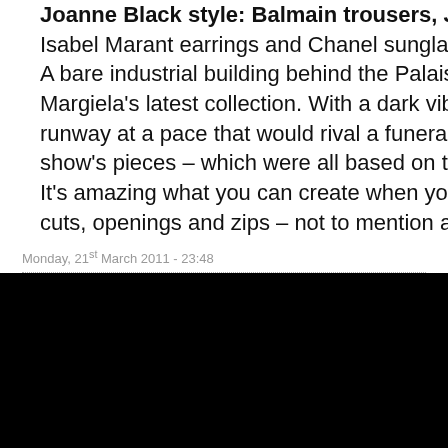Joanne Black style: Balmain trousers, Joseph top, Prada Isabel Marant earrings and Chanel sunglasses A bare industrial building behind the Palais de Tokyo made Margiela's latest collection. With a dark vibe and models walking runway at a pace that would rival a funeral march, it was hard to show's pieces – which were all based on the study of a dress. It's amazing what you can create when you start with a dress – cuts, openings and zips – not to mention a range of materials and felt padded fabrics to ponyskin and cashmere – has enabled house to add new meaning to an often simple piece of clothing. I set on a plum and red number and will definitely be adding accessories – including a large leather clutch – to my ever-
Monday, 21st March 2011 - 23:48